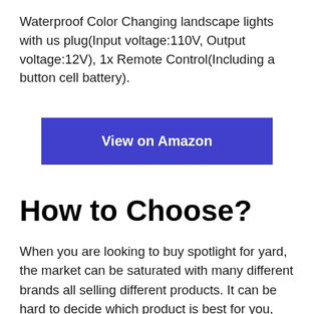Waterproof Color Changing landscape lights with us plug(Input voltage:110V, Output voltage:12V), 1x Remote Control(Including a button cell battery).
[Figure (other): Blue button labeled 'View on Amazon']
How to Choose?
When you are looking to buy spotlight for yard, the market can be saturated with many different brands all selling different products. It can be hard to decide which product is best for you, especially if you don't have any prior knowledge about the specifications you